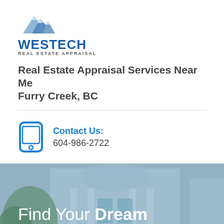[Figure (logo): Westech Real Estate Appraisal logo with mountain peaks icon above the text WESTECH in bold blue and REAL ESTATE APPRAISAL in grey below]
Real Estate Appraisal Services Near Me Furry Creek, BC
Contact Us: 604-986-2722
[Figure (photo): Background photo of a house exterior with blue tint overlay showing columns and a porch, with text 'Find Your Dream Home' overlaid in white]